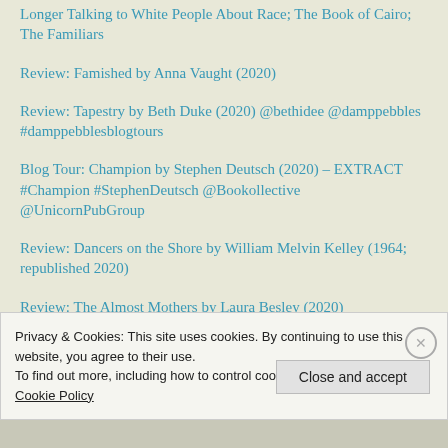Longer Talking to White People About Race; The Book of Cairo; The Familiars
Review: Famished by Anna Vaught (2020)
Review: Tapestry by Beth Duke (2020) @bethidee @damppebbles #damppebblesblogtours
Blog Tour: Champion by Stephen Deutsch (2020) – EXTRACT #Champion #StephenDeutsch @Bookollective @UnicornPubGroup
Review: Dancers on the Shore by William Melvin Kelley (1964; republished 2020)
Review: The Almost Mothers by Laura Besley (2020)
Review: Sea Wife by Amity Gaige (2020) @fleetreads #ReadFleet #SeaWife #SeaWifeTour
Privacy & Cookies: This site uses cookies. By continuing to use this website, you agree to their use. To find out more, including how to control cookies, see here: Cookie Policy
Close and accept